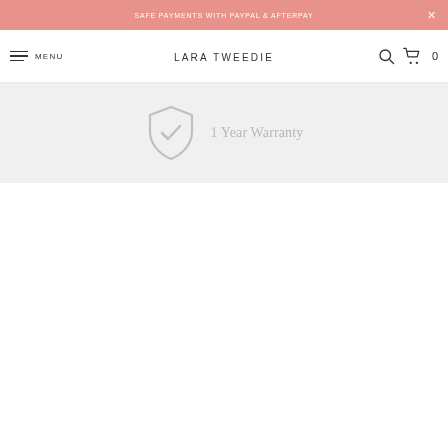SAFE PAYMENTS WITH PAYPAL & AFTERPAY
MENU   LARA TWEEDIE
[Figure (infographic): Shield icon with checkmark representing 1 Year Warranty]
1 Year Warranty